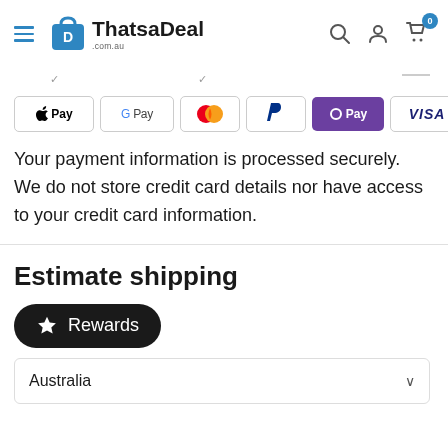[Figure (logo): ThatsaDeal.com.au logo with shopping bag icon]
Your payment information is processed securely. We do not store credit card details nor have access to your credit card information.
Estimate shipping
Rewards
Australia